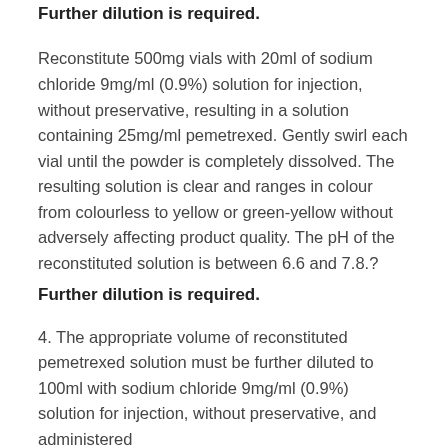Further dilution is required.
Reconstitute 500mg vials with 20ml of sodium chloride 9mg/ml (0.9%) solution for injection, without preservative, resulting in a solution containing 25mg/ml pemetrexed. Gently swirl each vial until the powder is completely dissolved. The resulting solution is clear and ranges in colour from colourless to yellow or green-yellow without adversely affecting product quality. The pH of the reconstituted solution is between 6.6 and 7.8.? Further dilution is required.
4. The appropriate volume of reconstituted pemetrexed solution must be further diluted to 100ml with sodium chloride 9mg/ml (0.9%) solution for injection, without preservative, and administered